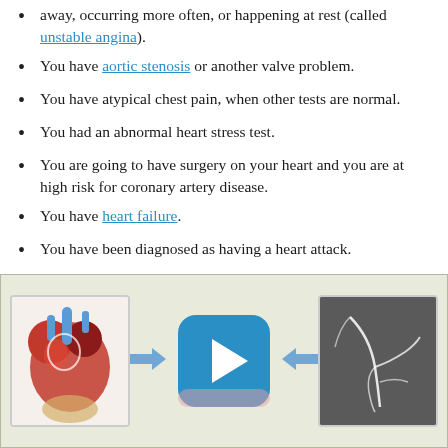away, occurring more often, or happening at rest (called unstable angina).
You have aortic stenosis or another valve problem.
You have atypical chest pain, when other tests are normal.
You had an abnormal heart stress test.
You are going to have surgery on your heart and you are at high risk for coronary artery disease.
You have heart failure.
You have been diagnosed as having a heart attack.
[Figure (illustration): Medical illustration showing three panels: left panel with anatomical heart illustration, center panel with a blue play button for video, right panel with a coronary angiogram image. Arrows point from outer panels toward center play button.]